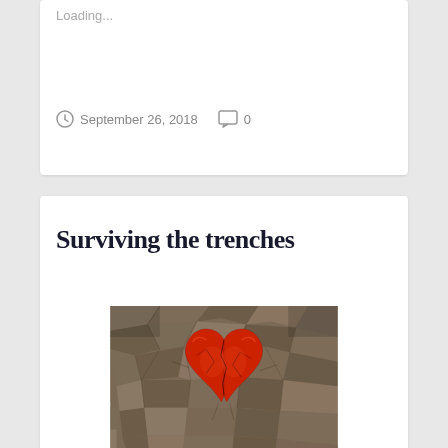Loading...
September 26, 2018   0
Surviving the trenches
[Figure (photo): A cracked dried earth background with a large red broken/cracked heart shape in the center, symbolizing heartbreak or emotional pain.]